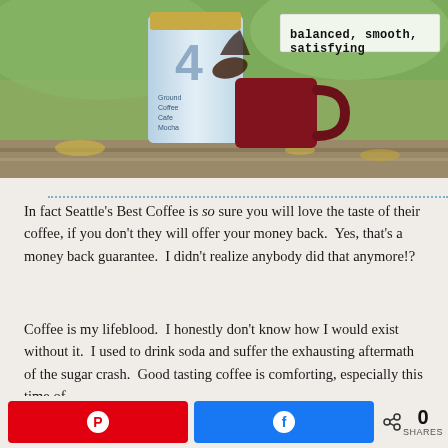[Figure (photo): Seattle's Best Coffee bag (Ground Coffee Cafe Mocha, Level 4) with a red mug on a wooden surface outdoors, with text overlay reading 'balanced, smooth, satisfying']
In fact Seattle's Best Coffee is so sure you will love the taste of their coffee, if you don't they will offer your money back.  Yes, that's a money back guarantee.  I didn't realize anybody did that anymore!?
Coffee is my lifeblood.  I honestly don't know how I would exist without it.  I used to drink soda and suffer the exhausting aftermath of the sugar crash.  Good tasting coffee is comforting, especially this time of
[Figure (other): Social sharing bar with Pinterest button, Facebook button, and share count showing 0 SHARES]